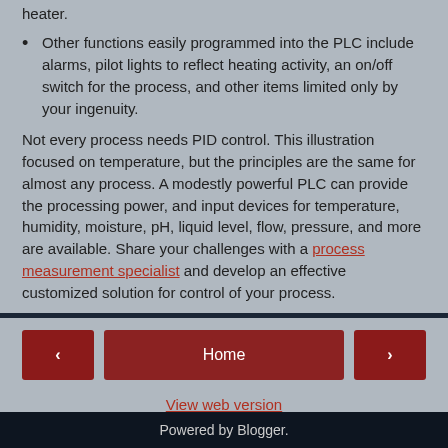heater.
Other functions easily programmed into the PLC include alarms, pilot lights to reflect heating activity, an on/off switch for the process, and other items limited only by your ingenuity.
Not every process needs PID control. This illustration focused on temperature, but the principles are the same for almost any process. A modestly powerful PLC can provide the processing power, and input devices for temperature, humidity, moisture, pH, liquid level, flow, pressure, and more are available. Share your challenges with a process measurement specialist and develop an effective customized solution for control of your process.
Powered by Blogger.